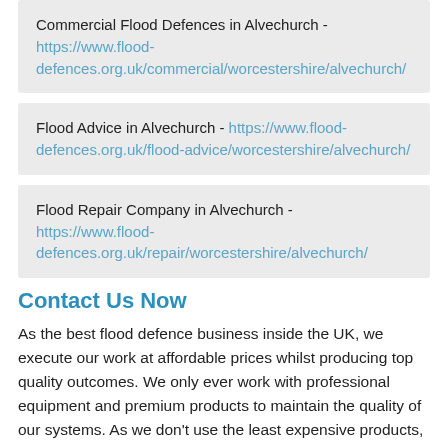Commercial Flood Defences in Alvechurch - https://www.flood-defences.org.uk/commercial/worcestershire/alvechurch/
Flood Advice in Alvechurch - https://www.flood-defences.org.uk/flood-advice/worcestershire/alvechurch/
Flood Repair Company in Alvechurch - https://www.flood-defences.org.uk/repair/worcestershire/alvechurch/
Contact Us Now
As the best flood defence business inside the UK, we execute our work at affordable prices whilst producing top quality outcomes. We only ever work with professional equipment and premium products to maintain the quality of our systems. As we don't use the least expensive products, you will find less pricey companies around. Our team can provide a much better service, mainly because of products and tools we make use of and the experience and knowledge we have. We've got a lot of expert knowledge inside the industry and many years of experience, meaning that you can rest